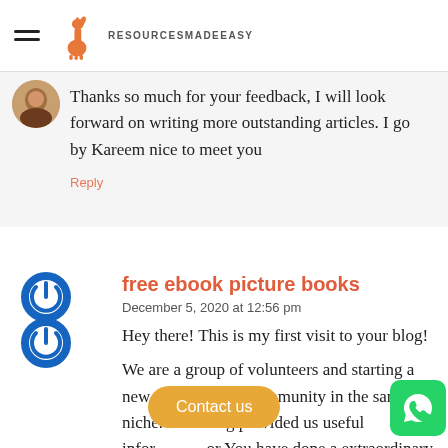RESOURCESMADEEASY
Thanks so much for your feedback, I will look forward on writing more outstanding articles. I go by Kareem nice to meet you
Reply
free ebook picture books
December 5, 2020 at 12:56 pm
Hey there! This is my first visit to your blog!
We are a group of volunteers and starting a new initiative in a community in the same niche. Your blog provided us useful infor or You have done a extraordinary job!